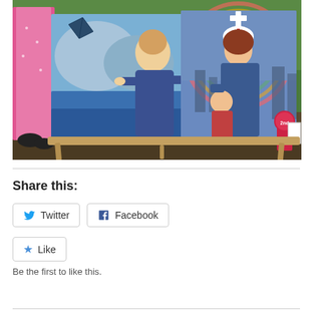[Figure (photo): Outdoor photo showing paintings displayed on a wooden stand on grass. A person in a pink dress is partially visible on the left. Two large paintings are propped up: the left shows a woman in blue robes near water with a kite, the right shows a nurse in blue holding a child with a red cross halo. A pink ribbon award is attached to the right painting.]
Share this:
Twitter
Facebook
Like
Be the first to like this.